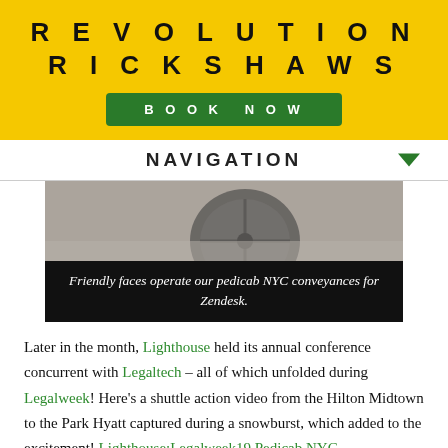REVOLUTION RICKSHAWS
BOOK NOW
NAVIGATION
[Figure (photo): Photo of pedicab/rickshaw wheel on pavement with caption: Friendly faces operate our pedicab NYC conveyances for Zendesk.]
Friendly faces operate our pedicab NYC conveyances for Zendesk.
Later in the month, Lighthouse held its annual conference concurrent with Legaltech – all of which unfolded during Legalweek! Here's a shuttle action video from the Hilton Midtown to the Park Hyatt captured during a snowburst, which added to the excitement! Lighthouse:Legalweek19 Pedicab NYC
Zendesk activated three branded pedicab NYC conveyances, while